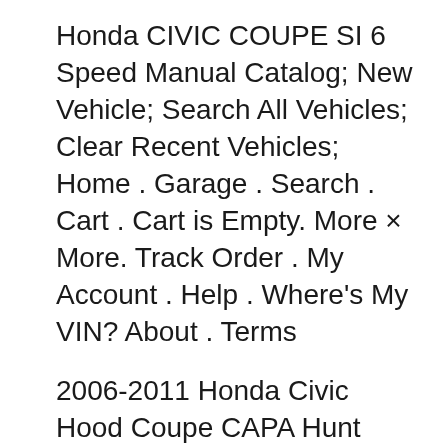Honda CIVIC COUPE SI 6 Speed Manual Catalog; New Vehicle; Search All Vehicles; Clear Recent Vehicles; Home . Garage . Search . Cart . Cart is Empty. More × More. Track Order . My Account . Help . Where's My VIN? About . Terms
2006-2011 Honda Civic Hood Coupe CAPA Hunt Parts 163,99 $ 147,99 $ 2006-2011 Honda Civic Hood Coupe Hunt Parts 156,99 $ 140,99 $ 2006-2011 Honda Civic Door Mirror Power Passenger Side Heated Coupe Hunt Parts 63,99 $ 57,99 $ 2006-2011 Honda Civic Hood Sedan/Hybrid Hunt Parts 126,99 $ 113,99 $ 5 700,00 $ Honda Civic 2010 automatique Ville de Montréal Il y a moins de 15 heures. En ... There is a tilt/telescoping steering wheel, two-tier instrument panel, and